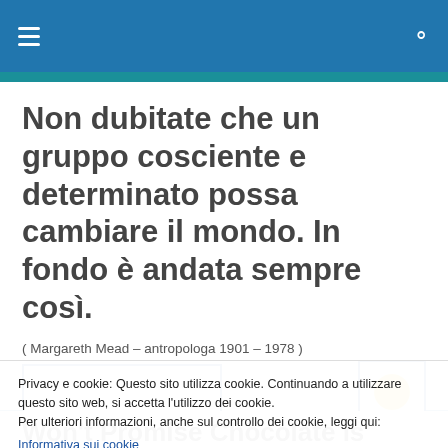≡  🔍
Non dubitate che un gruppo cosciente e determinato possa cambiare il mondo. In fondo è andata sempre così.
( Margareth Mead – antropologa 1901 – 1978 )
Privacy e cookie: Questo sito utilizza cookie. Continuando a utilizzare questo sito web, si accetta l'utilizzo dei cookie.
Per ulteriori informazioni, anche sul controllo dei cookie, leggi qui:
Informativa sui cookie
Chiudi e accetta
Won't Promise Chocolate is